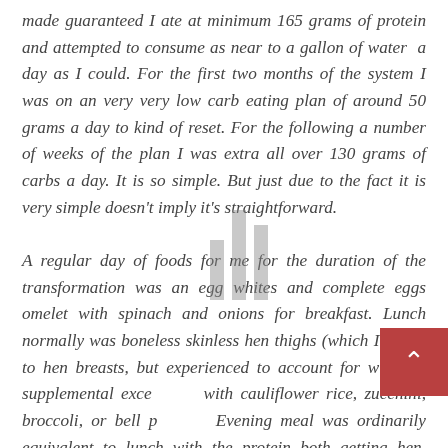made guaranteed I ate at minimum 165 grams of protein and attempted to consume as near to a gallon of water a day as I could. For the first two months of the system I was on an very very low carb eating plan of around 50 grams a day to kind of reset. For the following a number of weeks of the plan I was extra all over 130 grams of carbs a day. It is so simple. But just due to the fact it is very simple doesn't imply it's straightforward.

A regular day of foods for me for the duration of the transformation was an egg whites and complete eggs omelet with spinach and onions for breakfast. Lunch normally was boneless skinless hen thighs (which I prefer to hen breasts, but experienced to account for with the supplemental excess fat) with cauliflower rice, zucchini, broccoli, or bell peppers. Evening meal was ordinarily equivalent to lunch with the protein both getting hen, salmon, sea bass, or a lean steak.